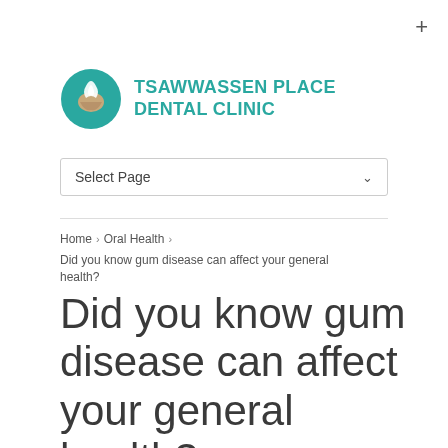[Figure (logo): Tsawwassen Place Dental Clinic logo — teal circle with dental figure and text]
Select Page
Home › Oral Health › Did you know gum disease can affect your general health?
Did you know gum disease can affect your general health?